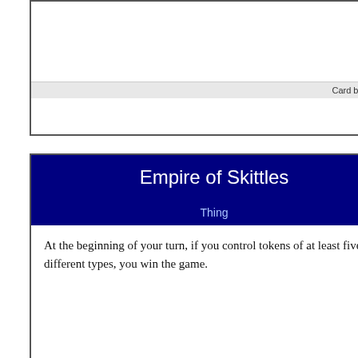Card by Bucky
Empire of Skittles
Thing
At the beginning of your turn, if you control tokens of at least five different types, you win the game.
Card by Corrigan
Lit Dynamite